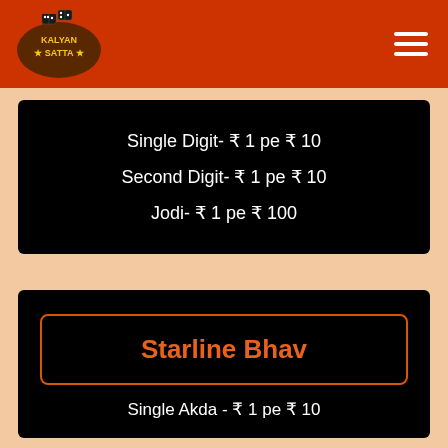[Figure (logo): Kalyan Satta logo with domino tiles, oval brown shape with stars]
Single Digit- ₹ 1 pe ₹ 10
Second Digit- ₹ 1 pe ₹ 10
Jodi- ₹ 1 pe ₹ 100
Starline Bhav
Single Akda - ₹ 1 pe ₹ 10